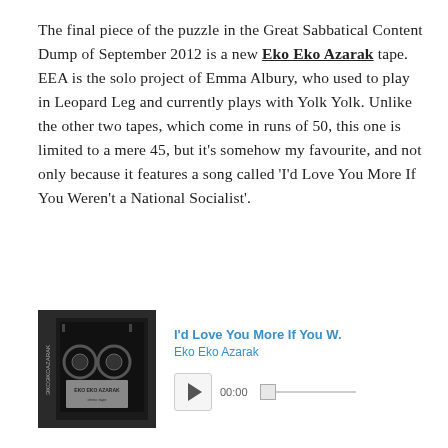The final piece of the puzzle in the Great Sabbatical Content Dump of September 2012 is a new Eko Eko Azarak tape. EEA is the solo project of Emma Albury, who used to play in Leopard Leg and currently plays with Yolk Yolk. Unlike the other two tapes, which come in runs of 50, this one is limited to a mere 45, but it's somehow my favourite, and not only because it features a song called 'I'd Love You More If You Weren't a National Socialist'.
[Figure (screenshot): Embedded music player showing album art for Eko Eko Azarak tape (black and white cassette art), track title 'I'd Love You More If You W.', artist 'Eko Eko Azarak', play button, time counter showing 00:00, and progress bar.]